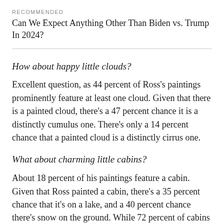RECOMMENDED
Can We Expect Anything Other Than Biden vs. Trump In 2024?
How about happy little clouds?
Excellent question, as 44 percent of Ross's paintings prominently feature at least one cloud. Given that there is a painted cloud, there's a 47 percent chance it is a distinctly cumulus one. There's only a 14 percent chance that a painted cloud is a distinctly cirrus one.
What about charming little cabins?
About 18 percent of his paintings feature a cabin. Given that Ross painted a cabin, there's a 35 percent chance that it's on a lake, and a 40 percent chance there's snow on the ground. While 72 percent of cabins are in the same painting as conifers, only 63